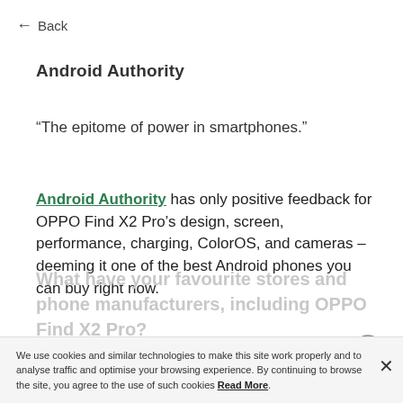← Back
Android Authority
“The epitome of power in smartphones.”
Android Authority has only positive feedback for OPPO Find X2 Pro’s design, screen, performance, charging, ColorOS, and cameras – deeming it one of the best Android phones you can buy right now.
We use cookies and similar technologies to make this site work properly and to analyse traffic and optimise your browsing experience. By continuing to browse the site, you agree to the use of such cookies Read More.